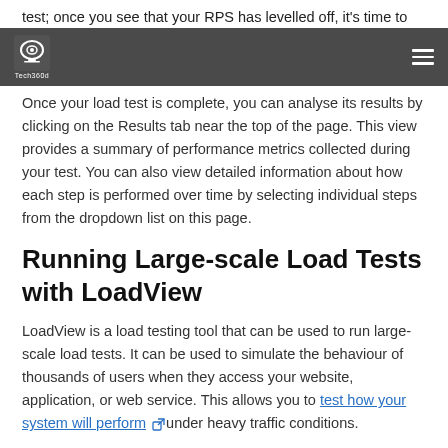test; once you see that your RPS has levelled off, it's time to stop the test
Tech360d [navigation bar with logo and hamburger menu]
Once your load test is complete, you can analyse its results by clicking on the Results tab near the top of the page. This view provides a summary of performance metrics collected during your test. You can also view detailed information about how each step is performed over time by selecting individual steps from the dropdown list on this page.
Running Large-scale Load Tests with LoadView
LoadView is a load testing tool that can be used to run large-scale load tests. It can be used to simulate the behaviour of thousands of users when they access your website, application, or web service. This allows you to test how your system will perform under heavy traffic conditions.
LoadView comes with the ability to generate synthetic traffic, but it